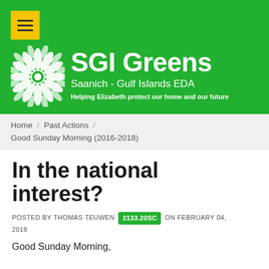[Figure (logo): SGI Greens website header banner with green background, yellow menu button, white flower/leaf logo, and text 'SGI Greens / Saanich - Gulf Islands EDA / Helping Elizabeth protect our home and our future']
Home / Past Actions / Good Sunday Morning (2016-2018)
In the national interest?
POSTED BY THOMAS TEUWEN 2133.20SC ON FEBRUARY 04, 2018
Good Sunday Morning,